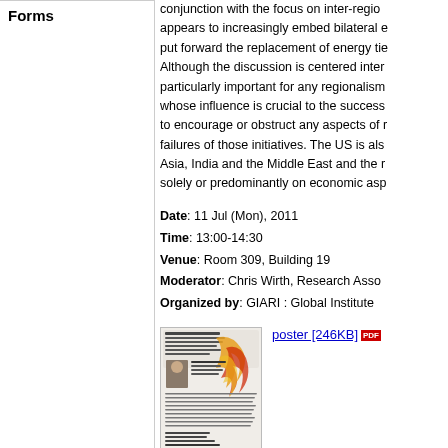Forms
conjunction with the focus on inter-regio... appears to increasingly embed bilateral e... put forward the replacement of energy tie... Although the discussion is centered inter... particularly important for any regionalism... whose influence is crucial to the success... to encourage or obstruct any aspects of r... failures of those initiatives. The US is als... Asia, India and the Middle East and the r... solely or predominantly on economic asp...
Date: 11 Jul (Mon), 2011
Time: 13:00-14:30
Venue: Room 309, Building 19
Moderator: Chris Wirth, Research Asso...
Organized by: GIARI : Global Institute...
[Figure (other): Thumbnail poster image for the seminar event showing title, speaker photo, and event details]
poster [246KB]